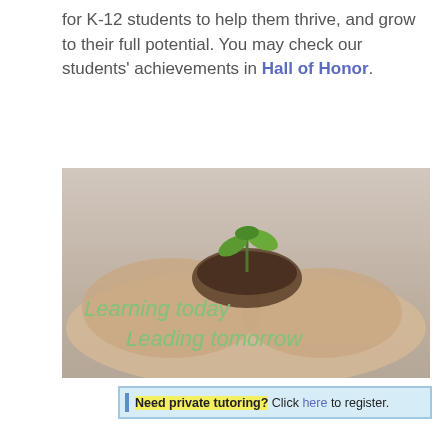for K-12 students to help them thrive, and grow to their full potential. You may check our students' achievements in Hall of Honor.
[Figure (photo): Hands cupping soil with a seedling plant growing from it, with overlay text 'Learning today' and 'Leading tomorrow' in green italic font.]
Need private tutoring? Click here to register.